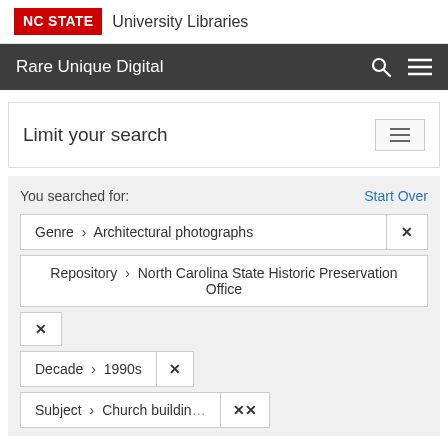NC STATE University Libraries
Rare Unique Digital
Limit your search
You searched for:
Start Over
Genre › Architectural photographs ✕
Repository › North Carolina State Historic Preservation Office ✕
Decade › 1990s ✕
Subject › Church buildings ✕